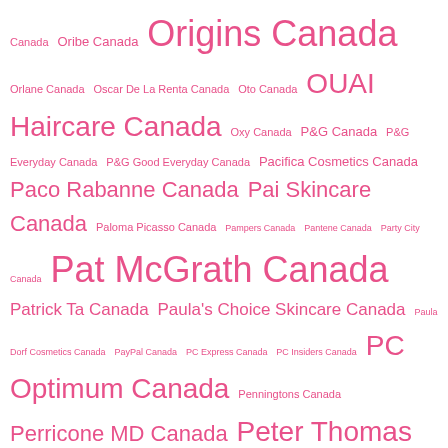Canada Oribe Canada Origins Canada Orlane Canada Oscar De La Renta Canada Oto Canada OUAI Haircare Canada Oxy Canada P&G Canada P&G Everyday Canada P&G Good Everyday Canada Pacifica Cosmetics Canada Paco Rabanne Canada Pai Skincare Canada Paloma Picasso Canada Pampers Canada Pantene Canada Party City Canada Pat McGrath Canada Patrick Ta Canada Paula's Choice Skincare Canada Paula Dorf Cosmetics Canada PayPal Canada PC Express Canada PC Insiders Canada PC Optimum Canada Penningtons Canada Perricone MD Canada Peter Thomas Roth Canada Pharmaprix Canada Pharmasave Canada Philipp Plein Canada Philips Canada Philosophy Canada Physicians Formula Canada Physiogel Canada Phyto Paris Canada Pillsbury Canada Pink n Blossom Canada Pinrose Canada Pixi Canada Playa Canada Pleasant Pits Canada Plume Science Canada PMD Canada Poise Canada Polident Canada Prada Canada Pretty Vulgar Canada Pretty Woman Canada Private Doctor Canada Provigo Canada Province Apothecary Canada Proxim Canada Pukka Tea Canada Pur